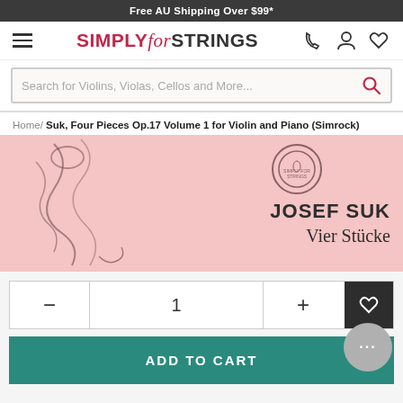Free AU Shipping Over $99*
[Figure (logo): Simply for Strings logo with hamburger menu and icons]
Search for Violins, Violas, Cellos and More...
Home / Suk, Four Pieces Op.17 Volume 1 for Violin and Piano (Simrock)
[Figure (photo): Pink product image with decorative violin scroll illustration on left and text JOSEF SUK / Vier Stücke on right, with Simply for Strings stamp]
– 1 + [wishlist button]
ADD TO CART